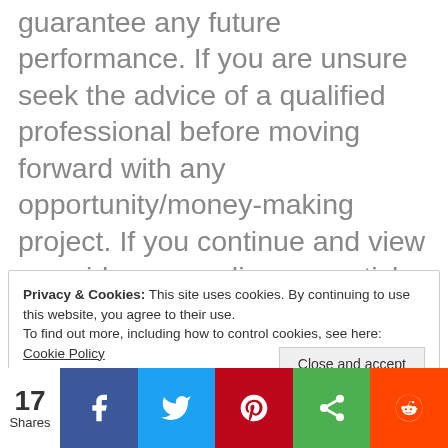guarantee any future performance. If you are unsure seek the advice of a qualified professional before moving forward with any opportunity/money-making project. If you continue and view any video or reading any article indicates your acceptance of the above terms.
Privacy & Cookies: This site uses cookies. By continuing to use this website, you agree to their use. To find out more, including how to control cookies, see here: Cookie Policy
Close and accept
17 Shares